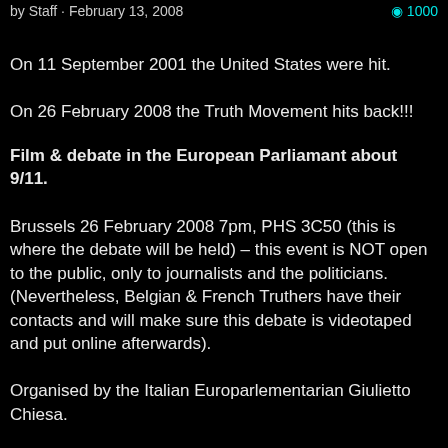by Staff · February 13, 2008   ◎ 1000
On 11 September 2001 the United States were hit.
On 26 February 2008 the Truth Movement hits back!!!
Film & debate in the European Parliamant about 9/11.
Brussels 26 February 2008 7pm, PHS 3C50 (this is where the debate will be held) – this event is NOT open to the public, only to journalists and the politicians. (Nevertheless, Belgian & French Truthers have their contacts and will make sure this debate is videotaped and put online afterwards).
Organised by the Italian Europarlementarian Giulietto Chiesa.